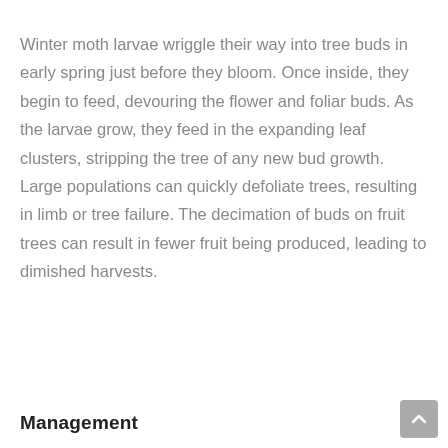Winter moth larvae wriggle their way into tree buds in early spring just before they bloom. Once inside, they begin to feed, devouring the flower and foliar buds. As the larvae grow, they feed in the expanding leaf clusters, stripping the tree of any new bud growth. Large populations can quickly defoliate trees, resulting in limb or tree failure. The decimation of buds on fruit trees can result in fewer fruit being produced, leading to dimished harvests.
Management